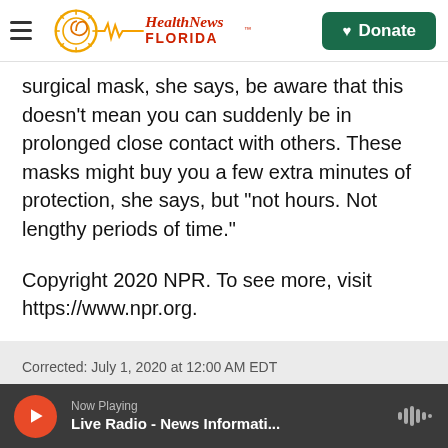Health News Florida | Donate
surgical mask, she says, be aware that this doesn't mean you can suddenly be in prolonged close contact with others. These masks might buy you a few extra minutes of protection, she says, but "not hours. Not lengthy periods of time."
Copyright 2020 NPR. To see more, visit https://www.npr.org.
Corrected: July 1, 2020 at 12:00 AM EDT
An earlier version of this story misspelled Supratik Guha's
Now Playing | Live Radio - News Informati...